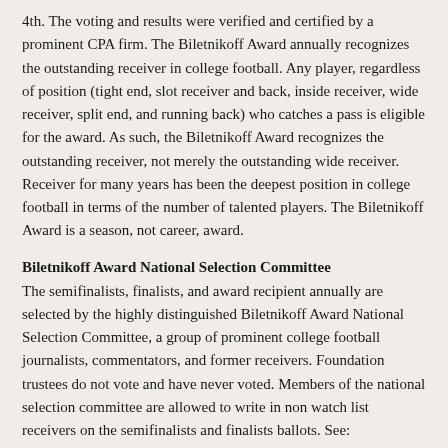4th. The voting and results were verified and certified by a prominent CPA firm. The Biletnikoff Award annually recognizes the outstanding receiver in college football. Any player, regardless of position (tight end, slot receiver and back, inside receiver, wide receiver, split end, and running back) who catches a pass is eligible for the award. As such, the Biletnikoff Award recognizes the outstanding receiver, not merely the outstanding wide receiver. Receiver for many years has been the deepest position in college football in terms of the number of talented players. The Biletnikoff Award is a season, not career, award.
Biletnikoff Award National Selection Committee
The semifinalists, finalists, and award recipient annually are selected by the highly distinguished Biletnikoff Award National Selection Committee, a group of prominent college football journalists, commentators, and former receivers. Foundation trustees do not vote and have never voted. Members of the national selection committee are allowed to write in non watch list receivers on the semifinalists and finalists ballots. See:
National Selection Committee
Candidate Eligibility and Voting Criteria
The transparently detailed and explicit criteria for candidate eligibility and